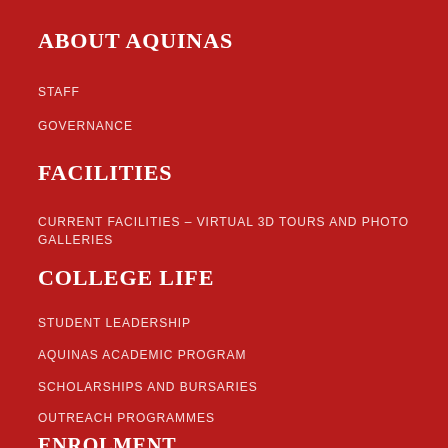ABOUT AQUINAS
STAFF
GOVERNANCE
FACILITIES
CURRENT FACILITIES – VIRTUAL 3D TOURS AND PHOTO GALLERIES
COLLEGE LIFE
STUDENT LEADERSHIP
AQUINAS ACADEMIC PROGRAM
SCHOLARSHIPS AND BURSARIES
OUTREACH PROGRAMMES
ENROLMENT
ONLINE APPLICATION FORM